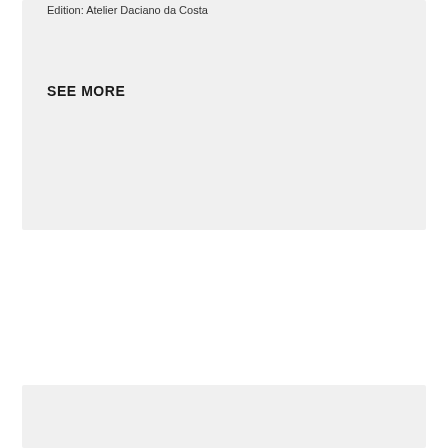Edition: Atelier Daciano da Costa
SEE MORE